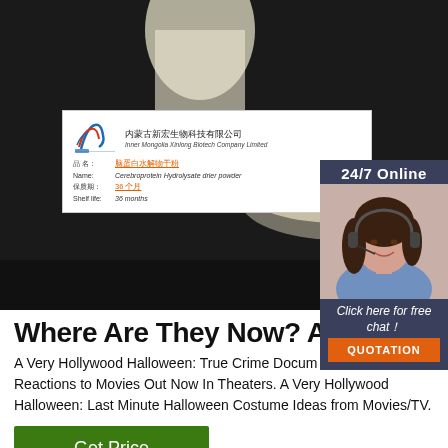[Figure (photo): Product photo showing a white cream/powder substance in a glass dish against a dark background, with a product label card from Inner Mongolia Xinlong Biotech Company Limited showing product name 'Cerebroprotein Hydrolysate drier powder', shelf life 36 months]
[Figure (infographic): 24/7 Online chat widget sidebar showing a female customer service agent with headset, 'Click here for free chat!' text and orange QUOTATION button]
Where Are They Now? Arch
A Very Hollywood Halloween: True Crime Docum Watch. Best Reactions to Movies Out Now In Theaters. A Very Hollywood Halloween: Last Minute Halloween Costume Ideas from Movies/TV.
[Figure (infographic): Red dotted circle TOP badge in bottom right]
Get Price